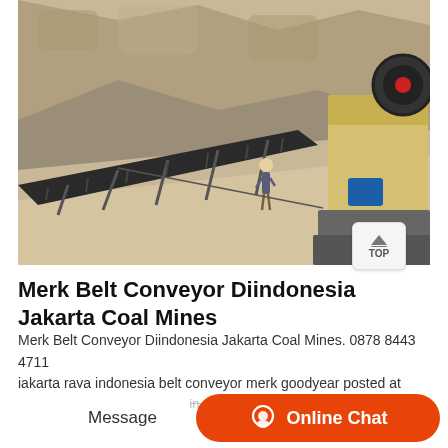[Figure (photo): Industrial belt conveyor and jaw crusher machine at a mining/quarry site with rocky terrain and a worker visible in the background.]
Merk Belt Conveyor Diindonesia Jakarta Coal Mines
Merk Belt Conveyor Diindonesia Jakarta Coal Mines. 0878 8443 4711 jakarta raya indonesia belt conveyor merk goodyear posted at january 10 2 belt conveyor merk goodyear in pekanbaru riau indonesia mencari